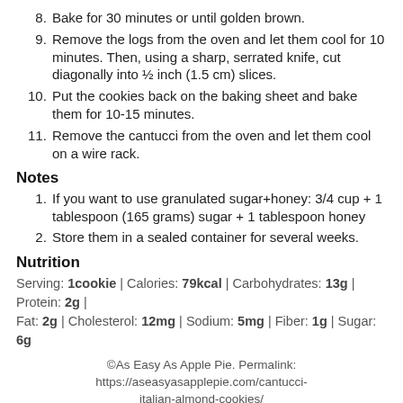8. Bake for 30 minutes or until golden brown.
9. Remove the logs from the oven and let them cool for 10 minutes. Then, using a sharp, serrated knife, cut diagonally into ½ inch (1.5 cm) slices.
10. Put the cookies back on the baking sheet and bake them for 10-15 minutes.
11. Remove the cantucci from the oven and let them cool on a wire rack.
Notes
1. If you want to use granulated sugar+honey: 3/4 cup + 1 tablespoon (165 grams) sugar + 1 tablespoon honey
2. Store them in a sealed container for several weeks.
Nutrition
Serving: 1cookie | Calories: 79kcal | Carbohydrates: 13g | Protein: 2g | Fat: 2g | Cholesterol: 12mg | Sodium: 5mg | Fiber: 1g | Sugar: 6g
©As Easy As Apple Pie. Permalink: https://aseasyasapplepie.com/cantucci-italian-almond-cookies/